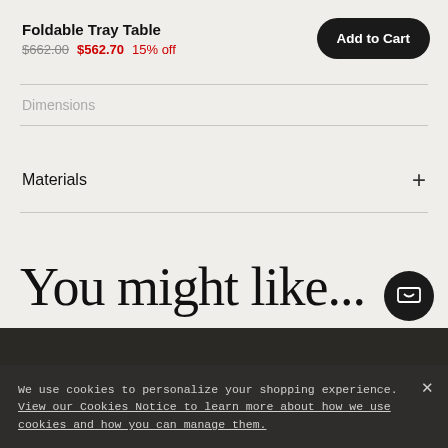Foldable Tray Table
$662.00  $562.70  15% off
Dimensions
Materials
You might like...
We use cookies to personalize your shopping experience. View our Cookies Notice to learn more about how we use cookies and how you can manage them.